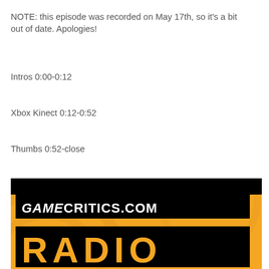NOTE: this episode was recorded on May 17th, so it's a bit out of date. Apologies!
Intros 0:00-0:12
Xbox Kinect 0:12-0:52
Thumbs 0:52-close
[Figure (logo): GameCritics.com Radio logo on orange background with black bars, showing 'GAMECRITICS.COM' text and 'RADIO' text below]